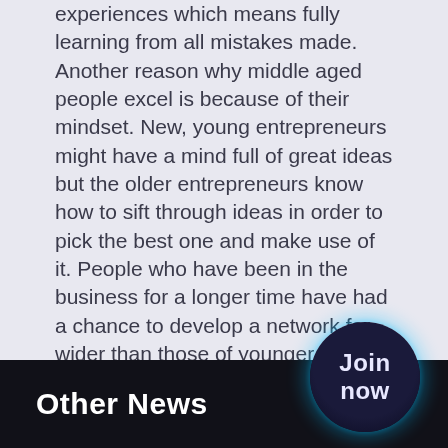experiences which means fully learning from all mistakes made. Another reason why middle aged people excel is because of their mindset. New, young entrepreneurs might have a mind full of great ideas but the older entrepreneurs know how to sift through ideas in order to pick the best one and make use of it. People who have been in the business for a longer time have had a chance to develop a network far wider than those of younger people. Some have also had the chance to save money in order to pursue their business dreams. People in their 20's-50's can seem more reliable and therefore have an easier time finding investors.
Do not give up your hopes of becoming successful just because you have reached a certain age. There are no limits other than the ones you set yourself. Good luck on your journey, and who knows what you can
Other News
[Figure (other): Dark circular button with text 'Join now' in white/light color, overlapping the footer area]